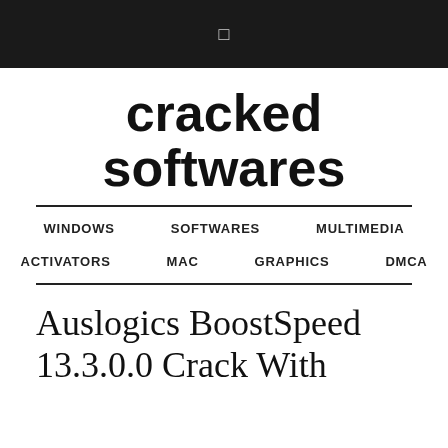☰
cracked softwares
WINDOWS   SOFTWARES   MULTIMEDIA
ACTIVATORS   MAC   GRAPHICS   DMCA
Auslogics BoostSpeed 13.3.0.0 Crack With